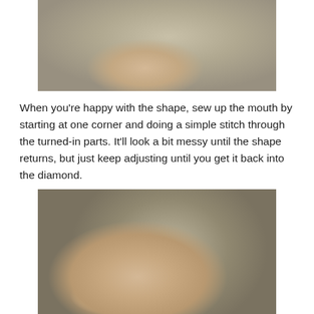[Figure (photo): Hand holding a piece of gray-green felt/wool material being shaped, viewed from above against a dark background.]
When you're happy with the shape, sew up the mouth by starting at one corner and doing a simple stitch through the turned-in parts. It'll look a bit messy until the shape returns, but just keep adjusting until you get it back into the diamond.
[Figure (photo): Hand holding a piece of gray-green needle-felted material showing messy stitching across the middle, with visible thread/needle, against a dark gray background.]